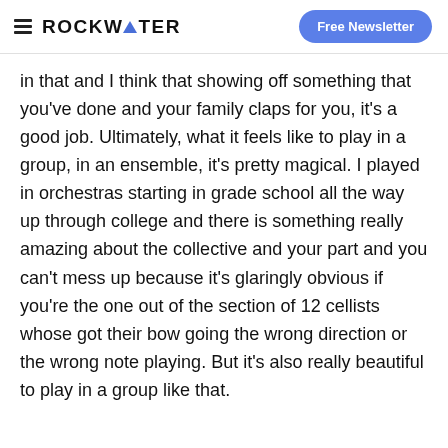ROCKWATER | Free Newsletter
in that and I think that showing off something that you've done and your family claps for you, it's a good job. Ultimately, what it feels like to play in a group, in an ensemble, it's pretty magical. I played in orchestras starting in grade school all the way up through college and there is something really amazing about the collective and your part and you can't mess up because it's glaringly obvious if you're the one out of the section of 12 cellists whose got their bow going the wrong direction or the wrong note playing. But it's also really beautiful to play in a group like that.